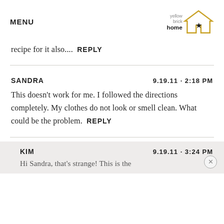MENU | yellow brick home [logo]
recipe for it also....  REPLY
SANDRA
9.19.11 - 2:18 PM
This doesn't work for me. I followed the directions completely. My clothes do not look or smell clean. What could be the problem.  REPLY
KIM
9.19.11 - 3:24 PM
Hi Sandra, that's strange! This is the